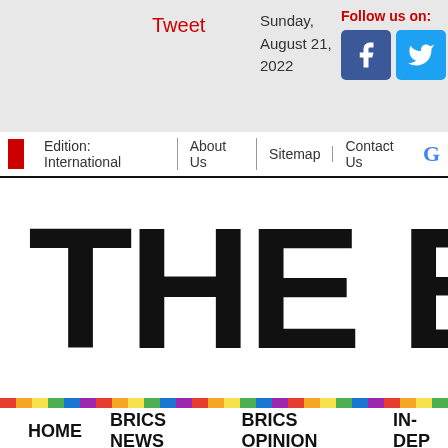Tweet | Sunday, August 21, 2022 | Follow us on: [Facebook] [Twitter]
Edition: International | About Us | Sitemap | Contact Us | G
THE BRIC
HOME  BRICS NEWS  BRICS OPINION  IN-DEP
RSS FEED
LATEST June 9, 2021 - South Africa economy expands 4.6% in Q1 May ... Democratic Alliance Innovation Summit highlights progress D... November 20, 2020 - BRICS Business Council promotes coop... to cushion consumers in Q2 September 23, 2020 - BRICS New Develo...
Protests continue as Bulgarian cabinet resigns